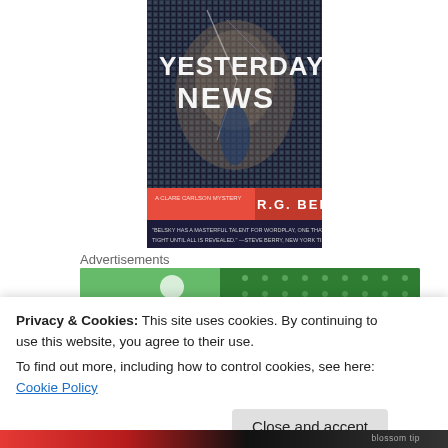[Figure (illustration): Book cover of 'Yesterday's News' by R.G. Belsky — a Clare Carlson Mystery. Dark pixelated face with the title in white cracked text and author name on a red band at bottom with a quote from Steve Berry.]
Advertisements
[Figure (other): Green advertisement banner with dotted pattern]
Privacy & Cookies: This site uses cookies. By continuing to use this website, you agree to their use.
To find out more, including how to control cookies, see here: Cookie Policy
Close and accept